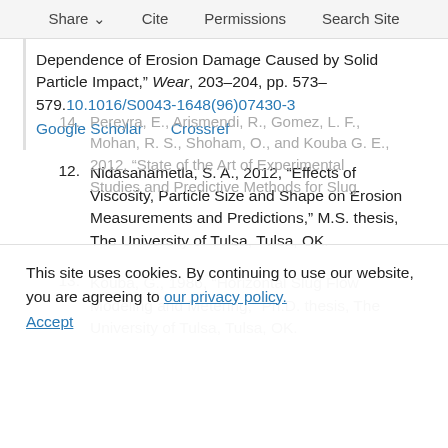Share   Cite   Permissions   Search Site
Dependence of Erosion Damage Caused by Solid Particle Impact,” Wear, 203–204, pp. 573–579. [link: 10.1016/S0043-1648(96)07430-3] [Google Scholar] [Crossref]
12. Nidasanametla, S. A., 2012, “Effects of Viscosity, Particle Size and Shape on Erosion Measurements and Predictions,” M.S. thesis, The University of Tulsa, Tulsa, OK.
13. Kouba, G., 1986, “Horizontal Slug Flow Modeling and Metering,” Ph.D. thesis, The University of Tulsa, Tulsa, OK.
14. Pereyra, E., Arismendi, R., Gomez, L. F., Mohan, R. S., Shoham, O., and Kouba G. E., 2012, “State of the Art of Experimental Studies and Predictive Methods for Slug…
This site uses cookies. By continuing to use our website, you are agreeing to our privacy policy. Accept